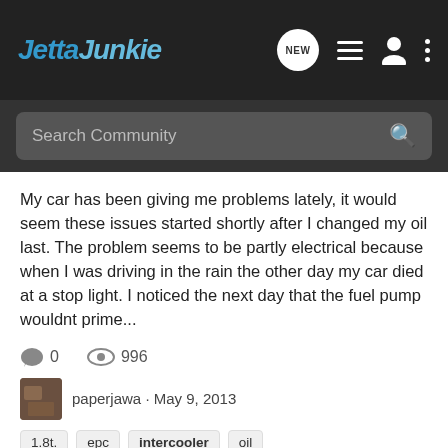JettaJunkie
Search Community
My car has been giving me problems lately, it would seem these issues started shortly after I changed my oil last. The problem seems to be partly electrical because when I was driving in the rain the other day my car died at a stop light. I noticed the next day that the fuel pump wouldnt prime...
0 comments, 996 views
paperjawa · May 9, 2013
1.8t.
epc
intercooler
oil
Steve Petty Motorsports FMIC Review
VW Jetta / Bora MKIV 1998 Euro,1999.5 US -2005
Last week I ordered my SPM Front mount Intercooler Kit from https://www.esetuning.com/. at an amazing price of